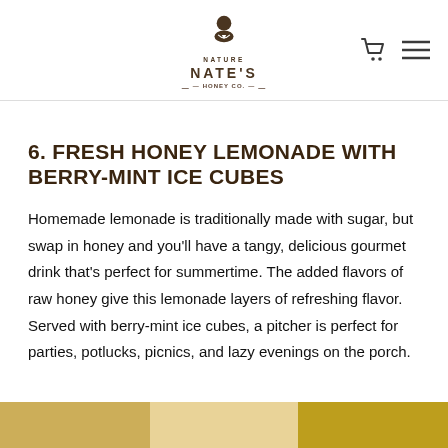Nature Nate's Honey Co.
6. FRESH HONEY LEMONADE WITH BERRY-MINT ICE CUBES
Homemade lemonade is traditionally made with sugar, but swap in honey and you'll have a tangy, delicious gourmet drink that's perfect for summertime. The added flavors of raw honey give this lemonade layers of refreshing flavor. Served with berry-mint ice cubes, a pitcher is perfect for parties, potlucks, picnics, and lazy evenings on the porch.
[Figure (photo): Bottom strip showing partial image of lemonade/food items]